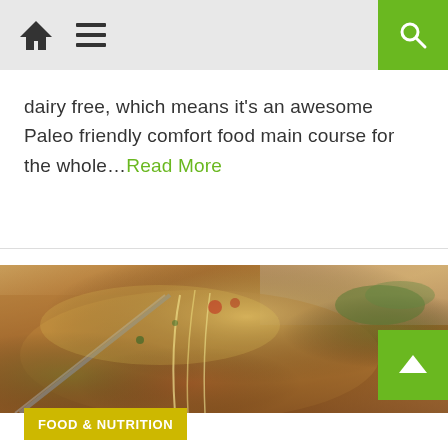Navigation bar with home icon, menu icon, and search button
dairy free, which means it's an awesome Paleo friendly comfort food main course for the whole...Read More
[Figure (photo): Close-up photo of a cheesy baked pasta dish being served with a spatula, with melted cheese pulling away. Spinach and tomato sauce visible. A baked casserole dish in the background with green herbs/spinach on the right side.]
FOOD & NUTRITION